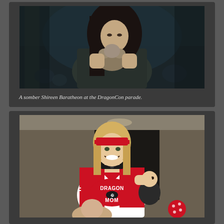[Figure (photo): A young girl dressed as Shireen Baratheon in dark clothing, holding a stuffed bear/toy, photographed at the DragonCon parade. Dark, somber mood with teal/dark color tones.]
A somber Shireen Baratheon at the DragonCon parade.
[Figure (photo): A smiling blonde woman wearing a red visor, choker necklace, and a red and white jersey that reads 'DRAGON MOM', holding a baby dressed in black. She appears to be at DragonCon.]